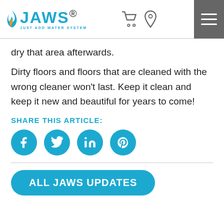[Figure (logo): JAWS Just Add Water System logo with blue flame icon]
dry that area afterwards.
Dirty floors and floors that are cleaned with the wrong cleaner won't last. Keep it clean and keep it new and beautiful for years to come!
SHARE THIS ARTICLE:
[Figure (infographic): Social media share icons: Facebook, Twitter, LinkedIn, Pinterest — teal circles with white icons]
ALL JAWS UPDATES